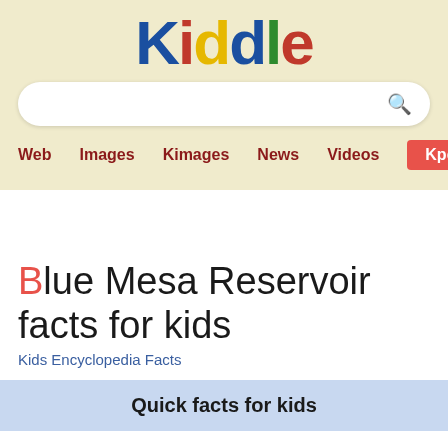Kiddle
Blue Mesa Reservoir facts for kids
Kids Encyclopedia Facts
Quick facts for kids